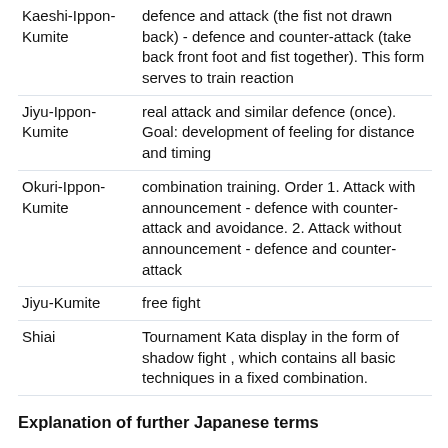| Term | Description |
| --- | --- |
| Kaeshi-Ippon-Kumite | defence and attack (the fist not drawn back) - defence and counter-attack (take back front foot and fist together). This form serves to train reaction |
| Jiyu-Ippon-Kumite | real attack and similar defence (once). Goal: development of feeling for distance and timing |
| Okuri-Ippon-Kumite | combination training. Order 1. Attack with announcement - defence with counter-attack and avoidance. 2. Attack without announcement - defence and counter-attack |
| Jiyu-Kumite | free fight |
| Shiai | Tournament Kata display in the form of shadow fight , which contains all basic techniques in a fixed combination. |
Explanation of further Japanese terms
| Term | Description |
| --- | --- |
| Dan | master grade |
| Dojo | practice room, Club Hara |